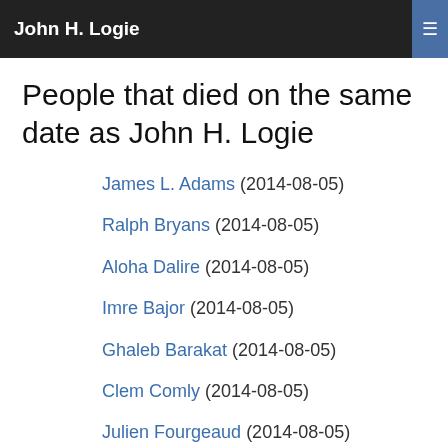John H. Logie
People that died on the same date as John H. Logie
James L. Adams (2014-08-05)
Ralph Bryans (2014-08-05)
Aloha Dalire (2014-08-05)
Imre Bajor (2014-08-05)
Ghaleb Barakat (2014-08-05)
Clem Comly (2014-08-05)
Julien Fourgeaud (2014-08-05)
Brent Galloway (2014-08-05)
Ananda W. P. Guruge (2014-08-05)